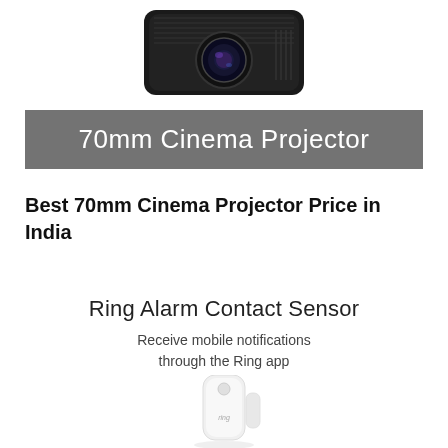[Figure (photo): Black cinema projector photographed from above/front showing lens and body, cropped at top of page]
70mm Cinema Projector
Best 70mm Cinema Projector Price in India
Ring Alarm Contact Sensor
Receive mobile notifications through the Ring app
[Figure (photo): White Ring Alarm Contact Sensor device with Ring branding, showing the two-piece sensor unit]